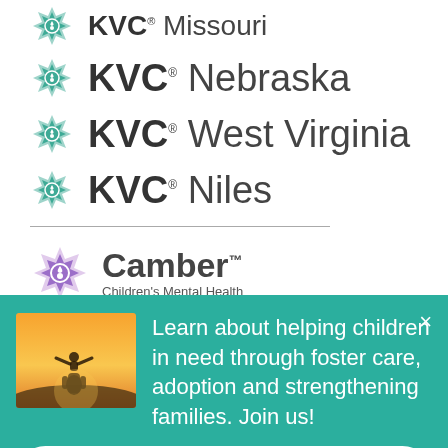[Figure (logo): KVC Missouri logo (partially cut off at top) with teal flower icon]
[Figure (logo): KVC Nebraska logo with teal flower icon]
[Figure (logo): KVC West Virginia logo with teal flower icon]
[Figure (logo): KVC Niles logo with teal flower icon]
[Figure (logo): Camber Children's Mental Health logo with purple flower icon]
View all locations
Learn about helping children in need through foster care, adoption and strengthening families. Join us!
Subscribe now